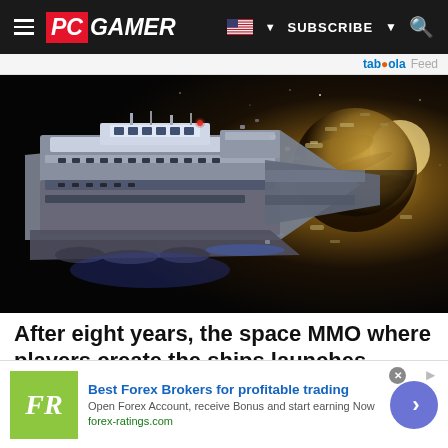PC GAMER — SUBSCRIBE
taboola Feed
[Figure (illustration): Space scene showing a large detailed spacecraft/space station on the left with multiple decks and structures, set against a dark starfield. A large planet with sunlight glowing behind it is on the upper right, with several smaller ships visible in the background.]
After eight years, the space MMO where players create the ships launches next...
[Figure (logo): FR logo in olive/yellow-green square background — Forex Ratings advertisement logo]
Best Forex Brokers for profitable trading
Open Forex Account, receive Bonus and start earning Now
forex-ratings.com